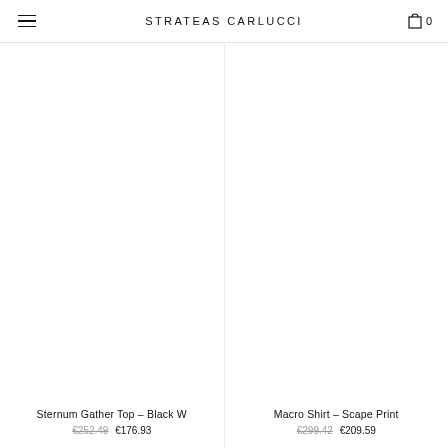STRATEAS CARLUCCI
Sternum Gather Top – Black W
€252.49 €176.93
Macro Shirt – Scape Print
€299.42 €209.59